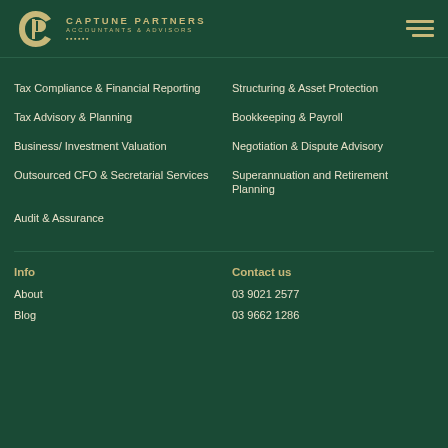[Figure (logo): Captune Partners logo with stylized CP monogram in gold on dark green background, text reads CAPTUNE PARTNERS ACCOUNTANTS & ADVISORS]
Tax Compliance & Financial Reporting
Structuring & Asset Protection
Tax Advisory & Planning
Bookkeeping & Payroll
Business/ Investment Valuation
Negotiation & Dispute Advisory
Outsourced CFO & Secretarial Services
Superannuation and Retirement Planning
Audit & Assurance
Info
Contact us
About
03 9021 2577
Blog
03 9662 1286